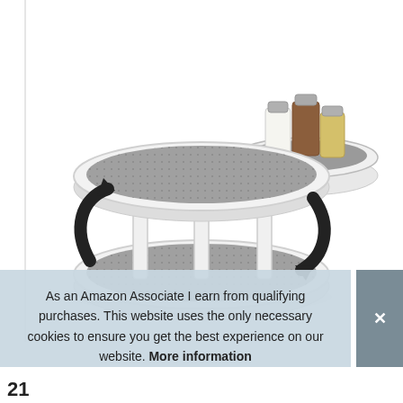[Figure (photo): A two-tier lazy Susan turntable with white plastic frame and dark grey non-slip mat surfaces, shown with rotation arrows on left and right sides. A smaller inset image in the upper right shows the turntable top tray holding three spice jars.]
As an Amazon Associate I earn from qualifying purchases. This website uses the only necessary cookies to ensure you get the best experience on our website. More information
21